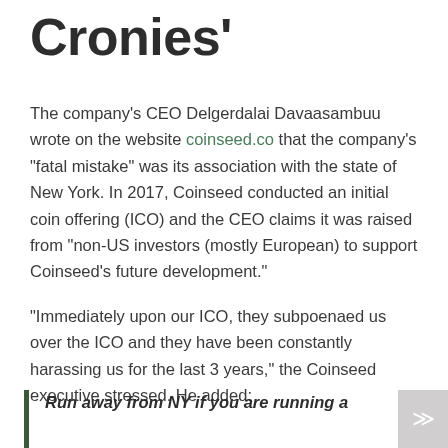Cronies'
The company's CEO Delgerdalai Davaasambuu wrote on the website coinseed.co that the company's “fatal mistake” was its association with the state of New York. In 2017, Coinseed conducted an initial coin offering (ICO) and the CEO claims it was raised from “non-US investors (mostly European) to support Coinseed’s future development.”
“Immediately upon our ICO, they subpoenaed us over the ICO and they have been constantly harassing us for the last 3 years,” the Coinseed executive stressed. He added:
Run away from NY if you are running a